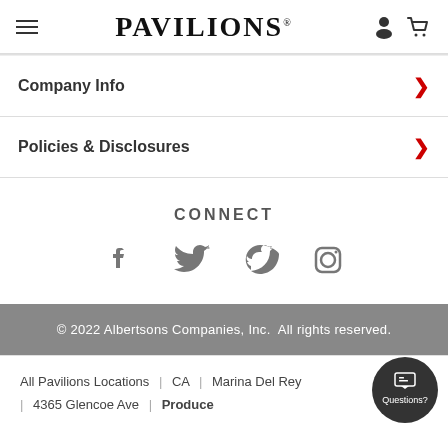PAVILIONS
Company Info
Policies & Disclosures
CONNECT
[Figure (illustration): Social media icons: Facebook, Twitter, Pinterest, Instagram]
© 2022 Albertsons Companies, Inc.  All rights reserved.
All Pavilions Locations | CA | Marina Del Rey | 4365 Glencoe Ave | Produce